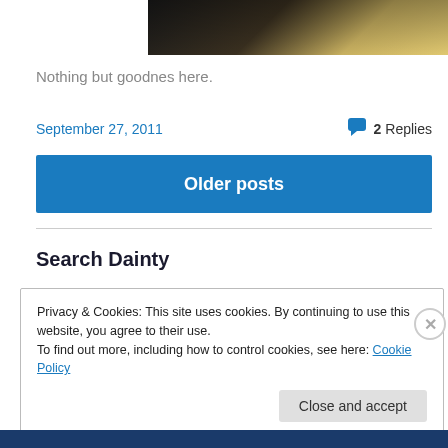[Figure (photo): Partial cropped photo showing dark and light tones, appears to be a close-up of an object with dark edges and cream/gold center]
Nothing but goodnes here.
September 27, 2011
2 Replies
Older posts
Search Dainty
Privacy & Cookies: This site uses cookies. By continuing to use this website, you agree to their use.
To find out more, including how to control cookies, see here: Cookie Policy
Close and accept